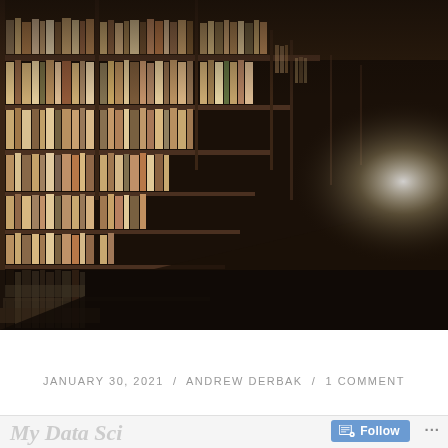[Figure (photo): A long library corridor with bookshelves filled with books on both sides, receding into the distance. Hanging Edison-style pendant bulbs illuminate the hallway, creating a warm, atmospheric glow. The perspective draws the eye toward a bright opening at the far end.]
JANUARY 30, 2021 / ANDREW DERBAK / 1 COMMENT
My Data Sci...